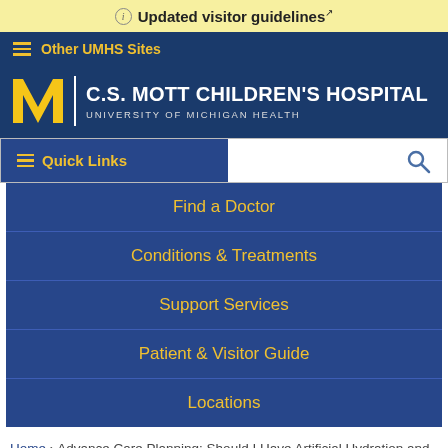Updated visitor guidelines
Other UMHS Sites
[Figure (logo): C.S. Mott Children's Hospital, University of Michigan Health logo with block M]
Quick Links
Find a Doctor
Conditions & Treatments
Support Services
Patient & Visitor Guide
Locations
Home › Advance Care Planning: Should I Have Artificial Hydration and Nutrition?